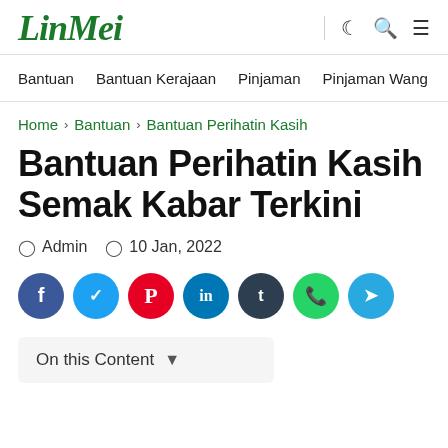LinMei
Bantuan  Bantuan Kerajaan  Pinjaman  Pinjaman Wang
Home > Bantuan > Bantuan Perihatin Kasih
Bantuan Perihatin Kasih Semak Kabar Terkini
Admin  10 Jan, 2022
[Figure (infographic): Social share buttons: Facebook, Twitter, Pinterest, LinkedIn, Tumblr, WhatsApp, Telegram]
On this Content